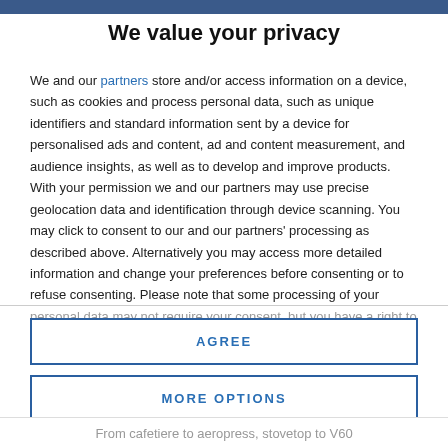We value your privacy
We and our partners store and/or access information on a device, such as cookies and process personal data, such as unique identifiers and standard information sent by a device for personalised ads and content, ad and content measurement, and audience insights, as well as to develop and improve products. With your permission we and our partners may use precise geolocation data and identification through device scanning. You may click to consent to our and our partners' processing as described above. Alternatively you may access more detailed information and change your preferences before consenting or to refuse consenting. Please note that some processing of your personal data may not require your consent, but you have a right to
AGREE
MORE OPTIONS
From cafetiere to aeropress, stovetop to V60